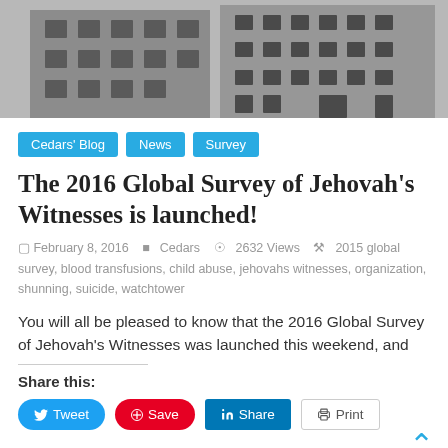[Figure (photo): Black and white photo of a multi-story building facade with windows and architectural details]
Cedars' Blog  News  Survey
The 2016 Global Survey of Jehovah's Witnesses is launched!
February 8, 2016   Cedars   2632 Views   2015 global survey, blood transfusions, child abuse, jehovahs witnesses, organization, shunning, suicide, watchtower
You will all be pleased to know that the 2016 Global Survey of Jehovah's Witnesses was launched this weekend, and
Share this:
Tweet  Save  Share  Print